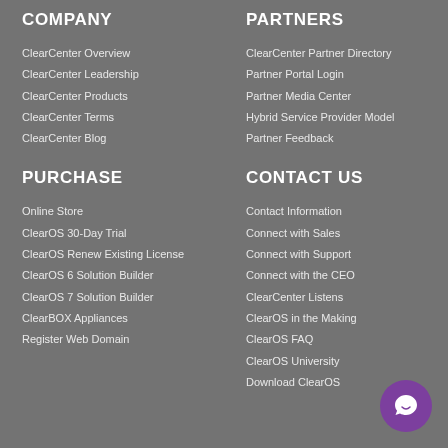COMPANY
ClearCenter Overview
ClearCenter Leadership
ClearCenter Products
ClearCenter Terms
ClearCenter Blog
PARTNERS
ClearCenter Partner Directory
Partner Portal Login
Partner Media Center
Hybrid Service Provider Model
Partner Feedback
PURCHASE
Online Store
ClearOS 30-Day Trial
ClearOS Renew Existing License
ClearOS 6 Solution Builder
ClearOS 7 Solution Builder
ClearBOX Appliances
Register Web Domain
CONTACT US
Contact Information
Connect with Sales
Connect with Support
Connect with the CEO
ClearCenter Listens
ClearOS in the Making
ClearOS FAQ
ClearOS University
Download ClearOS